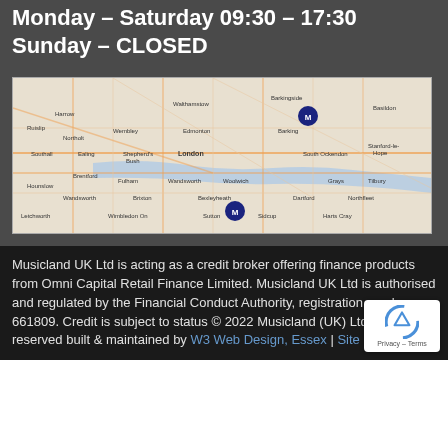Monday - Saturday 09:30 - 17:30
Sunday - CLOSED
[Figure (map): Map of London area showing two location markers (dark blue pins) — one in the Barking/east area and one in the south/Sidcup area, with the River Thames visible and surrounding districts labeled including Harrow, Walthamstow, Barkingside, Basildon, Northolt, Dagenham, Romford, Ilford, Barking, Southall, Ealing, Shepherd's Bush, London, South Ockendon, Stanford-le-Hope, Brentford, Hounslow, Putney, Wandsworth, Brixton, London Bridge, Woolwich, Grave, Tilbury, Letchworth, Wimbledon On, Sutton, Sidcup, Harts Cray, Dartford, Northfleet]
Musicland UK Ltd is acting as a credit broker offering finance products from Omni Capital Retail Finance Limited.  Musicland UK Ltd is authorised and regulated by the Financial Conduct Authority, registration number 661809. Credit is subject to status © 2022 Musicland (UK) Ltd All rights reserved built & maintained by W3 Web Design, Essex | Site Map